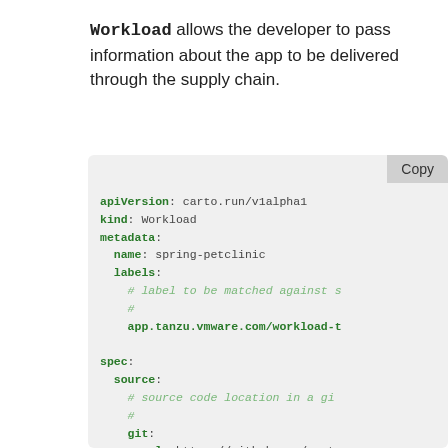Workload allows the developer to pass information about the app to be delivered through the supply chain.
[Figure (screenshot): Code block showing a YAML Workload definition with apiVersion, kind, metadata (name, labels), spec (source, git url/ref with branch, tag, commit fields). A 'Copy' button is in the top-right corner.]